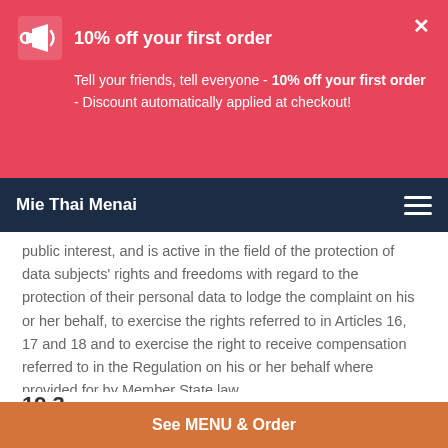[Figure (infographic): Red promotional banner with megaphone icon and close button]
10% off your first order
Tell your friends, tell everyone - 10% off your first order - Discount automatically applied at checkout!
Mie Thai Menai
public interest, and is active in the field of the protection of data subjects' rights and freedoms with regard to the protection of their personal data to lodge the complaint on his or her behalf, to exercise the rights referred to in Articles 16, 17 and 18 and to exercise the right to receive compensation referred to in the Regulation on his or her behalf where provided for by Member State law.
19.3
See MENU & Order